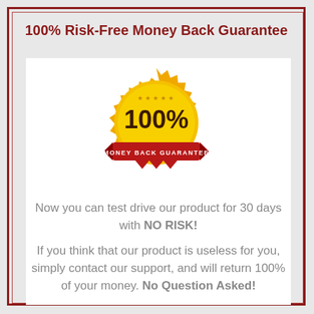100% Risk-Free Money Back Guarantee
[Figure (illustration): Gold seal badge with '100%' text in dark brown and a red ribbon banner reading 'MONEY BACK GUARANTEE' with small stars at top]
Now you can test drive our product for 30 days with NO RISK!
If you think that our product is useless for you, simply contact our support, and will return 100% of your money. No Question Asked!